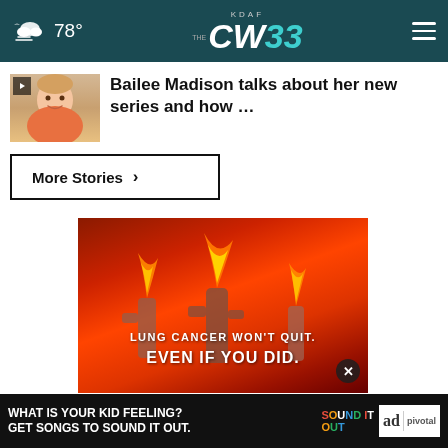KDAF CW 33 — 78°
Bailee Madison talks about her new series and how …
More Stories ›
[Figure (photo): Ad image for lung cancer awareness: cacti on fire against a red background. Text reads 'LUNG CANCER WON'T QUIT. EVEN IF YOU DID.' with a close button.]
[Figure (photo): Bottom banner ad: 'WHAT IS YOUR KID FEELING? GET SONGS TO SOUND IT OUT.' with Sound It Out and Ad Council logos, and Pivotal branding.]